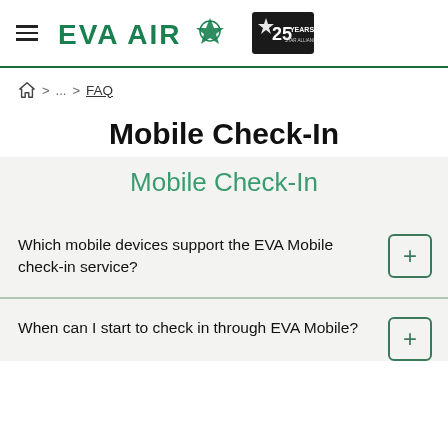[Figure (logo): EVA Air logo with green plane and star emblem, beside a '25 Years' Star Alliance anniversary badge]
🏠 > ... > FAQ
Mobile Check-In
Mobile Check-In
Which mobile devices support the EVA Mobile check-in service?
When can I start to check in through EVA Mobile?